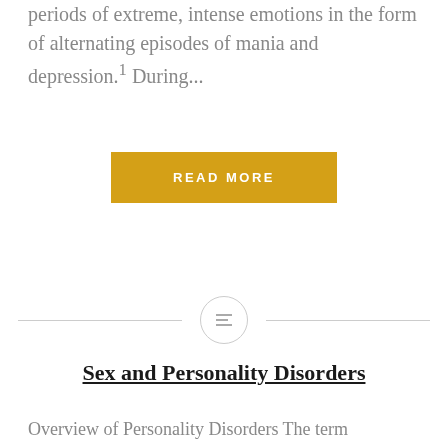periods of extreme, intense emotions in the form of alternating episodes of mania and depression.1 During...
READ MORE
[Figure (other): Horizontal divider line with a circle icon containing three horizontal lines in the center]
Sex and Personality Disorders
Overview of Personality Disorders The term personality refers to patterns that characterize how a person thinks, feels, and behaves. Personality is what makes each person unique. Personality disorders occur when certain personality traits are too rigid or compulsive. As defined by